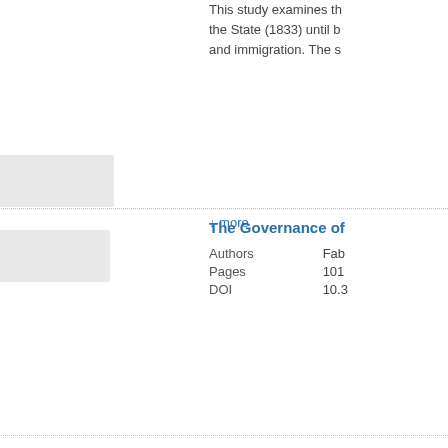This study examines the State (1833) until b and immigration. The s
↓ more
The Governance of
Authors Fab
Pages 101
DOI 10.3
The Administration
Authors Frits
Pages 123
DOI 10.3
Abstract
For centuries the Neth looked for a job and/o 1950s emigration was
↓ more
Administrative Hist Centuries
Authors Gre